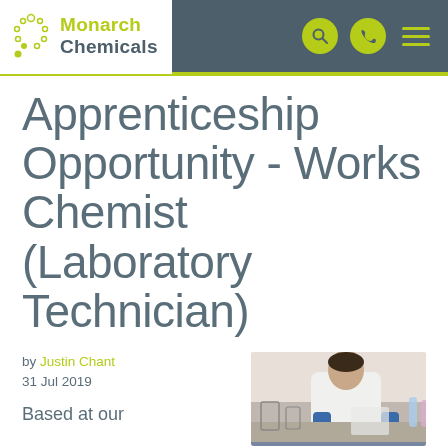Monarch Chemicals
Apprenticeship Opportunity - Works Chemist (Laboratory Technician)
by Justin Chant
31 Jul 2019
Based at our
[Figure (photo): Laboratory technician in white coat and blue gloves working at a lab bench with equipment and test tubes]